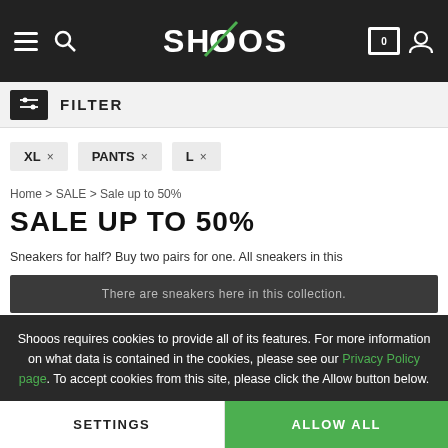SHOOOS — navigation header with hamburger, search, logo, cart (0), user icon
FILTER
XL ×
PANTS ×
L ×
Home > SALE > Sale up to 50%
SALE UP TO 50%
Sneakers for half? Buy two pairs for one. All sneakers in this
Shooos requires cookies to provide all of its features. For more information on what data is contained in the cookies, please see our Privacy Policy page. To accept cookies from this site, please click the Allow button below.
There are sneakers here in this collection.